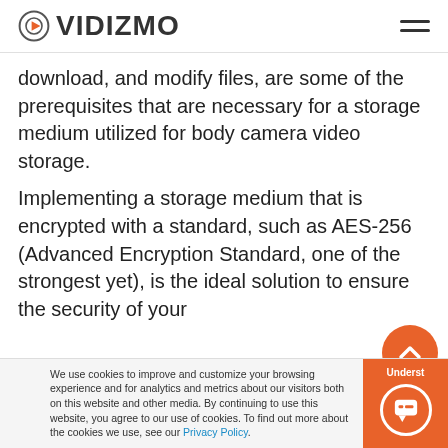[Figure (logo): VIDIZMO logo with circular orange icon on the left and hamburger menu icon on the right]
download, and modify files, are some of the prerequisites that are necessary for a storage medium utilized for body camera video storage.
Implementing a storage medium that is encrypted with a standard, such as AES-256 (Advanced Encryption Standard, one of the strongest yet), is the ideal solution to ensure the security of your
We use cookies to improve and customize your browsing experience and for analytics and metrics about our visitors both on this website and other media. By continuing to use this website, you agree to our use of cookies. To find out more about the cookies we use, see our Privacy Policy.